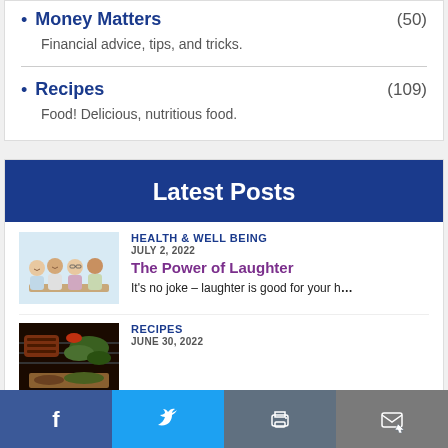Money Matters (50)
Financial advice, tips, and tricks.
Recipes (109)
Food! Delicious, nutritious food.
Latest Posts
[Figure (photo): Group of people laughing and talking around a table]
HEALTH & WELL BEING
JULY 2, 2022
The Power of Laughter
It's no joke – laughter is good for your h…
[Figure (photo): Food dish with grilled meat and vegetables]
RECIPES
JUNE 30, 2022
Facebook | Twitter | Print | Email